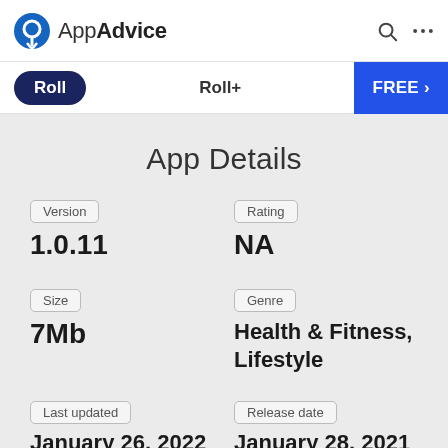AppAdvice
Roll | Roll+ | FREE
App Details
Version: 1.0.11
Rating: NA
Size: 7Mb
Genre: Health & Fitness, Lifestyle
Last updated: January 26, 2022
Release date: January 28, 2021